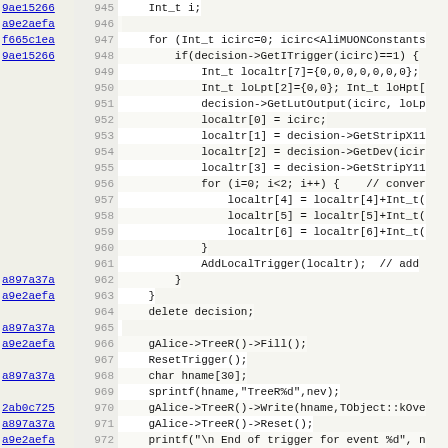Source code viewer showing lines 945-977 of a C++ file with git blame hashes and line numbers. Code includes a loop over AliMUONConstants, trigger logic, local trigger array manipulation, tree fill and reset operations, and start of AliMUON::Digits2Reco function.